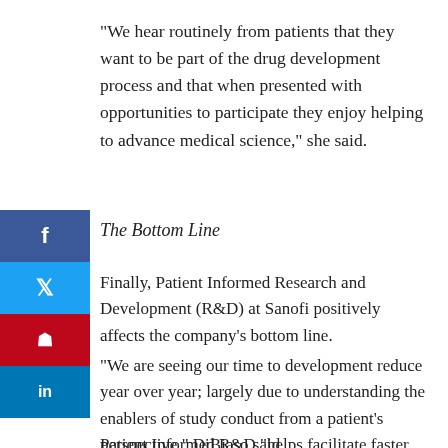“We hear routinely from patients that they want to be part of the drug development process and that when presented with opportunities to participate they enjoy helping to advance medical science,” she said.
The Bottom Line
Finally, Patient Informed Research and Development (R&D) at Sanofi positively affects the company’s bottom line.
“We are seeing our time to development reduce year over year; largely due to understanding the enablers of study conduct from a patient’s perspective,” DiBiaso said.
Patient Informed R&D “helps facilitate faster clinical